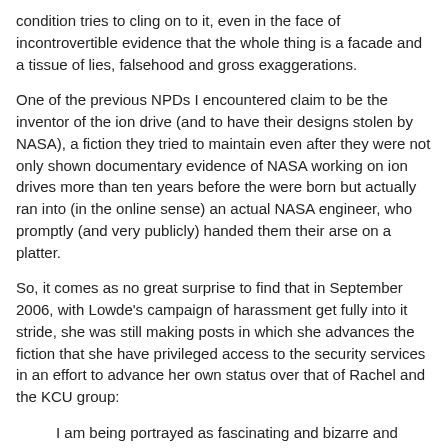condition tries to cling on to it, even in the face of incontrovertible evidence that the whole thing is a facade and a tissue of lies, falsehood and gross exaggerations.
One of the previous NPDs I encountered claim to be the inventor of the ion drive (and to have their designs stolen by NASA), a fiction they tried to maintain even after they were not only shown documentary evidence of NASA working on ion drives more than ten years before the were born but actually ran into (in the online sense) an actual NASA engineer, who promptly (and very publicly) handed them their arse on a platter.
So, it comes as no great surprise to find that in September 2006, with Lowde's campaign of harassment get fully into it stride, she was still making posts in which she advances the fiction that she have privileged access to the security services in an effort to advance her own status over that of Rachel and the KCU group:
I am being portrayed as fascinating and bizarre and